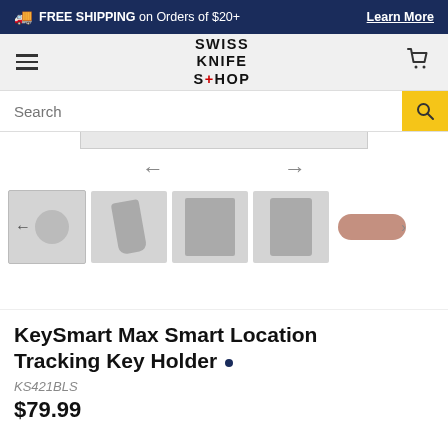🚚 FREE SHIPPING on Orders of $20+  Learn More
[Figure (logo): Swiss Knife Shop logo with hamburger menu and cart icon on gray header bar]
Search
[Figure (screenshot): Product image carousel with navigation arrows and 5 product thumbnails showing KeySmart Max Smart Location Tracking Key Holder from different angles]
KeySmart Max Smart Location Tracking Key Holder
KS421BLS
$79.99